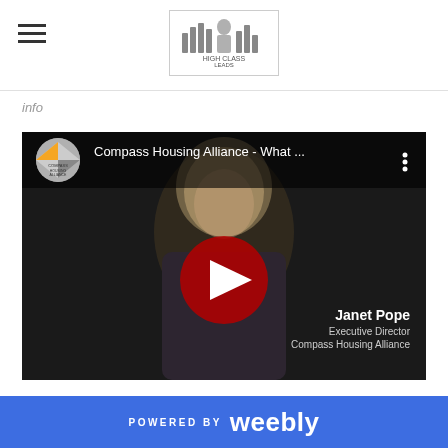High Class Leads - logo header with hamburger menu
info
[Figure (screenshot): YouTube video embed showing a woman (Janet Pope) with title 'Compass Housing Alliance - What ...' and a red play button in the center. Video player UI with logo circle and options dots visible.]
POWERED BY weebly